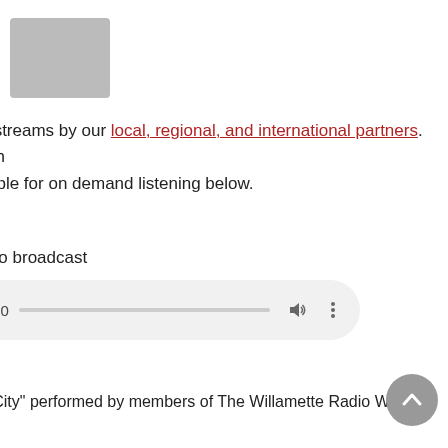[Figure (photo): Gray thumbnail image placeholder in top left corner]
nd streams by our local, regional, and international partners. Arch ailable for on demand listening below.
radio broadcast
[Figure (other): Audio player widget with time display showing :00, a progress bar, volume icon, and more options icon on a light gray rounded background]
ne City" performed by members of The Willamette Radio Worksho
y
.
y